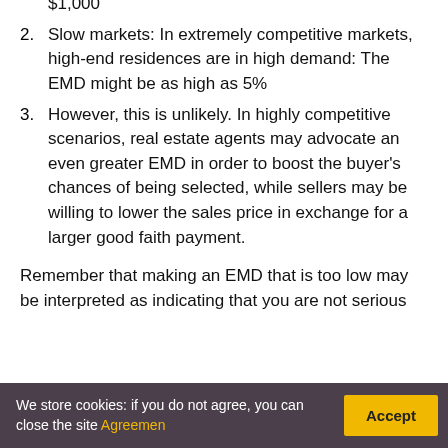$1,000
2. Slow markets: In extremely competitive markets, high-end residences are in high demand: The EMD might be as high as 5%
3. However, this is unlikely. In highly competitive scenarios, real estate agents may advocate an even greater EMD in order to boost the buyer’s chances of being selected, while sellers may be willing to lower the sales price in exchange for a larger good faith payment.
Remember that making an EMD that is too low may be interpreted as indicating that you are not serious
We store cookies: if you do not agree, you can close the site Agreemen